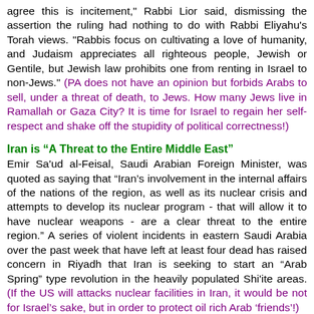agree this is incitement," Rabbi Lior said, dismissing the assertion the ruling had nothing to do with Rabbi Eliyahu's Torah views. "Rabbis focus on cultivating a love of humanity, and Judaism appreciates all righteous people, Jewish or Gentile, but Jewish law prohibits one from renting in Israel to non-Jews." (PA does not have an opinion but forbids Arabs to sell, under a threat of death, to Jews. How many Jews live in Ramallah or Gaza City? It is time for Israel to regain her self-respect and shake off the stupidity of political correctness!)
Iran is “A Threat to the Entire Middle East”
Emir Sa'ud al-Feisal, Saudi Arabian Foreign Minister, was quoted as saying that “Iran’s involvement in the internal affairs of the nations of the region, as well as its nuclear crisis and attempts to develop its nuclear program - that will allow it to have nuclear weapons - are a clear threat to the entire region.” A series of violent incidents in eastern Saudi Arabia over the past week that have left at least four dead has raised concern in Riyadh that Iran is seeking to start an “Arab Spring” type revolution in the heavily populated Shi'ite areas. (If the US will attacks nuclear facilities in Iran, it would be not for Israel’s sake, but in order to protect oil rich Arab ‘friends’!)
Anti-Israel International Bigots Support Syria